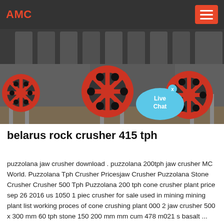AMC
[Figure (photo): Industrial rock crusher machinery with large red flywheel wheels in a factory setting. Multiple red flywheels and dark crushing components visible. Live Chat bubble overlay in bottom-right corner.]
belarus rock crusher 415 tph
puzzolana jaw crusher download . puzzolana 200tph jaw crusher MC World. Puzzolana Tph Crusher Pricesjaw Crusher Puzzolana Stone Crusher Crusher 500 Tph Puzzolana 200 tph cone crusher plant price sep 26 2016 us 1050 1 piec crusher for sale used in mining mining plant list working proces of cone crushing plant 000 2 jaw crusher 500 x 300 mm 60 tph stone 150 200 mm mm cum 478 m021 s basalt ...